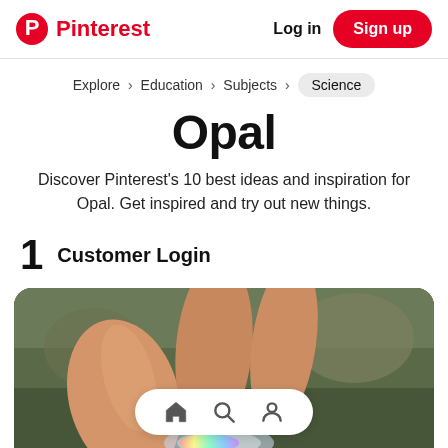Pinterest  Log in  Sign up
Explore > Education > Subjects > Science
Opal
Discover Pinterest's 10 best ideas and inspiration for Opal. Get inspired and try out new things.
1  Customer Login
[Figure (photo): A hand holding an opal stone with iridescent colors, with a Pinterest-style mobile navigation bar (home, search, profile icons) overlaid at the bottom of the image.]